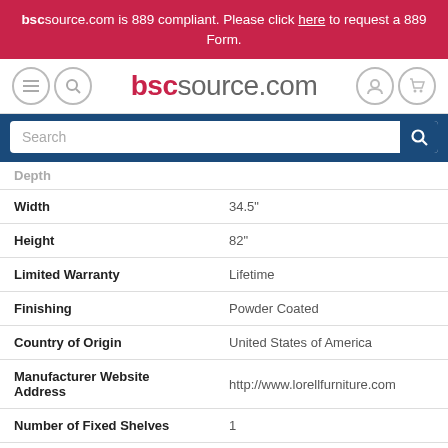bscsource.com is 889 compliant. Please click here to request a 889 Form.
[Figure (screenshot): BSC source website navigation bar with menu icon, search icon, bscsource.com logo in red/gray, user account icon, and shopping cart icon]
[Figure (screenshot): Search bar with blue background and search input field]
| Attribute | Value |
| --- | --- |
| Depth |  |
| Width | 34.5" |
| Height | 82" |
| Limited Warranty | Lifetime |
| Finishing | Powder Coated |
| Country of Origin | United States of America |
| Manufacturer Website Address | http://www.lorellfurniture.com |
| Number of Fixed Shelves | 1 |
| Number of Adjustable Shelves | 5 |